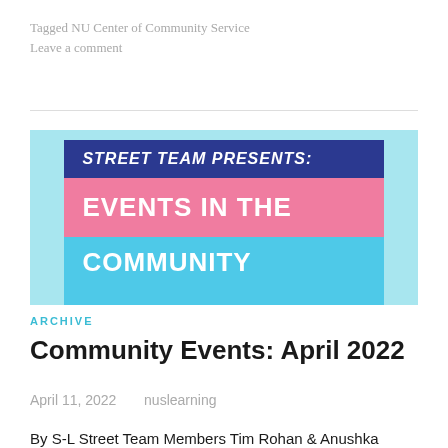Tagged NU Center of Community Service
Leave a comment
[Figure (illustration): Promotional graphic with teal background. Contains three horizontal banner sections centered: dark navy blue band reading 'STREET TEAM PRESENTS:' in italic bold white text; pink band reading 'EVENTS IN THE' in bold white text; light blue band reading 'COMMUNITY' in bold white text.]
ARCHIVE
Community Events: April 2022
April 11, 2022    nuslearning
By S-L Street Team Members Tim Rohan & Anushka